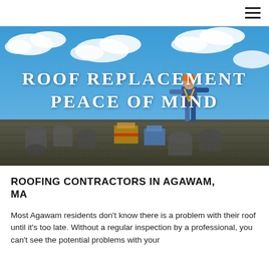≡
[Figure (photo): A roofing contractor standing on a roof under a blue sky with clouds, surrounded by roofing materials and supplies. The image has white bold text overlay reading 'ROOF REPLACEMENT PEACE OF MIND'.]
ROOF REPLACEMENT PEACE OF MIND
ROOFING CONTRACTORS IN AGAWAM, MA
Most Agawam residents don't know there is a problem with their roof until it's too late. Without a regular inspection by a professional, you can't see the potential problems with your